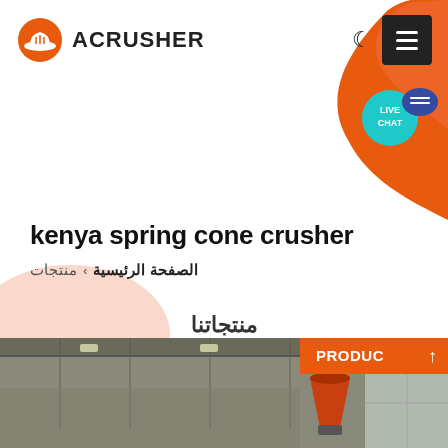[Figure (logo): Acrusher logo with orange hard hat icon and bold text ACRUSHER]
[Figure (illustration): Orange organic blob shape in top-right corner of header background]
[Figure (illustration): Light peach organic blob shape in bottom-left area below the title section]
[Figure (illustration): Teal live chat speech bubble with LIVE CHAT text and blue chat bubble icon]
kenya spring cone crusher
منتجات › الصفحة الرئيسية
منتجاتنا
[Figure (photo): Factory interior photograph showing industrial equipment, ceiling structure, and a cone crusher machine visible at bottom. Orange PRODUC label with up arrow in bottom right corner.]